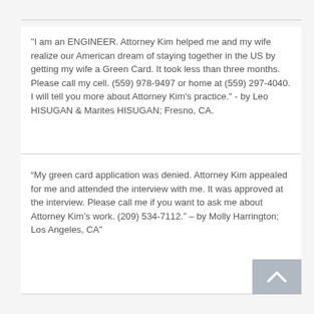"I am an ENGINEER. Attorney Kim helped me and my wife realize our American dream of staying together in the US by getting my wife a Green Card. It took less than three months. Please call my cell. (559) 978-9497 or home at (559) 297-4040. I will tell you more about Attorney Kim's practice." - by Leo HISUGAN & Marites HISUGAN; Fresno, CA.
“My green card application was denied. Attorney Kim appealed for me and attended the interview with me. It was approved at the interview. Please call me if you want to ask me about Attorney Kim’s work. (209) 534-7112.” – by Molly Harrington; Los Angeles, CA"